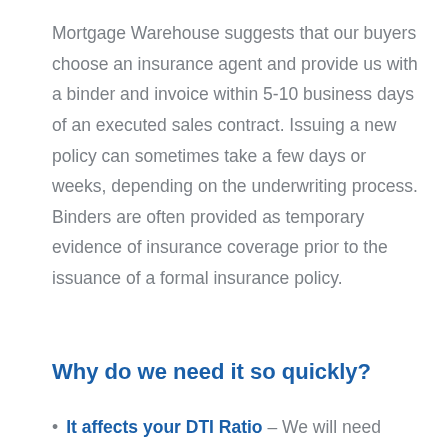Mortgage Warehouse suggests that our buyers choose an insurance agent and provide us with a binder and invoice within 5-10 business days of an executed sales contract. Issuing a new policy can sometimes take a few days or weeks, depending on the underwriting process. Binders are often provided as temporary evidence of insurance coverage prior to the issuance of a formal insurance policy.
Why do we need it so quickly?
It affects your DTI Ratio – We will need